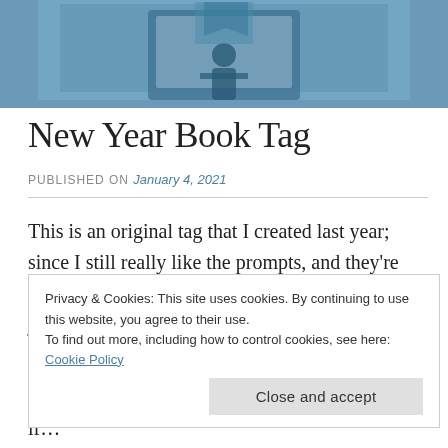[Figure (photo): Hero image of a person standing in front of a large screen or monitor, in a blue-toned image]
New Year Book Tag
PUBLISHED ON January 4, 2021
This is an original tag that I created last year; since I still really like the prompts, and they're still applicable with multiple possible answers, just for funsies I wanted to bring it back with a new set of answers for a new year. (And with
Privacy & Cookies: This site uses cookies. By continuing to use this website, you agree to their use.
To find out more, including how to control cookies, see here: Cookie Policy
Close and accept
if...